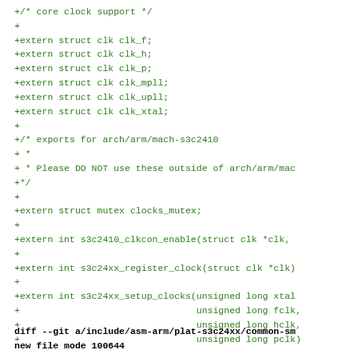+/* core clock support */
+
+extern struct clk clk_f;
+extern struct clk clk_h;
+extern struct clk clk_p;
+extern struct clk clk_mpll;
+extern struct clk clk_upll;
+extern struct clk clk_xtal;
+
+/* exports for arch/arm/mach-s3c2410
+ *
+ * Please DO NOT use these outside of arch/arm/mac
+*/
+
+extern struct mutex clocks_mutex;
+
+extern int s3c2410_clkcon_enable(struct clk *clk,
+
+extern int s3c24xx_register_clock(struct clk *clk)
+
+extern int s3c24xx_setup_clocks(unsigned long xtal
+                                unsigned long fclk,
+                                unsigned long hclk,
+                                unsigned long pclk)
diff --git a/include/asm-arm/plat-s3c24xx/common-sm
new file mode 100644